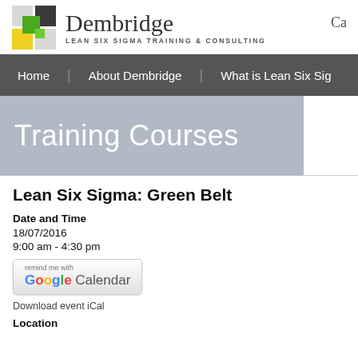[Figure (logo): Dembridge logo with colored grid squares and text 'Dembridge LEAN SIX SIGMA TRAINING & CONSULTING']
Ca
Home | About Dembridge | What is Lean Six Sig
Training Courses
Lean Six Sigma: Green Belt
Date and Time
18/07/2016
9:00 am - 4:30 pm
[Figure (screenshot): remind me with Google Calendar button]
Download event iCal
Location